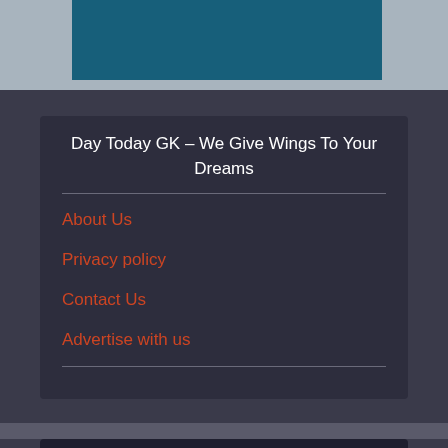[Figure (other): Dark teal/blue banner image at the top of the page]
Day Today GK – We Give Wings To Your Dreams
About Us
Privacy policy
Contact Us
Advertise with us
CHANNEL FOR ASPIRANTS